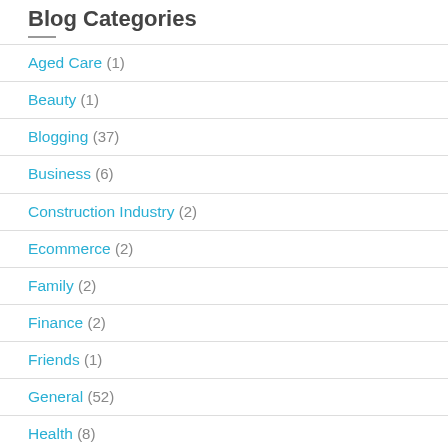Blog Categories
Aged Care (1)
Beauty (1)
Blogging (37)
Business (6)
Construction Industry (2)
Ecommerce (2)
Family (2)
Finance (2)
Friends (1)
General (52)
Health (8)
Home Improvement (1)
Law (3)